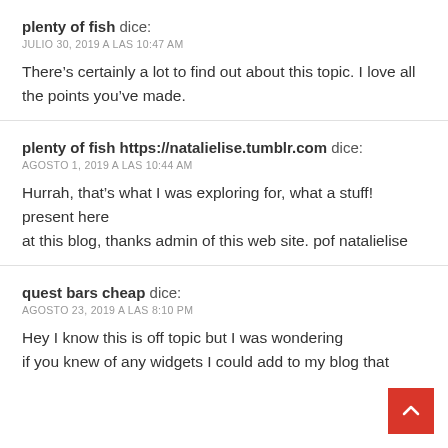plenty of fish dice:
JULIO 30, 2019 A LAS 10:47 AM
There’s certainly a lot to find out about this topic. I love all the points you’ve made.
plenty of fish https://natalielise.tumblr.com dice:
AGOSTO 1, 2019 A LAS 10:44 AM
Hurrah, that’s what I was exploring for, what a stuff! present here
at this blog, thanks admin of this web site. pof natalielise
quest bars cheap dice:
AGOSTO 23, 2019 A LAS 8:10 PM
Hey I know this is off topic but I was wondering if you knew of any widgets I could add to my blog that